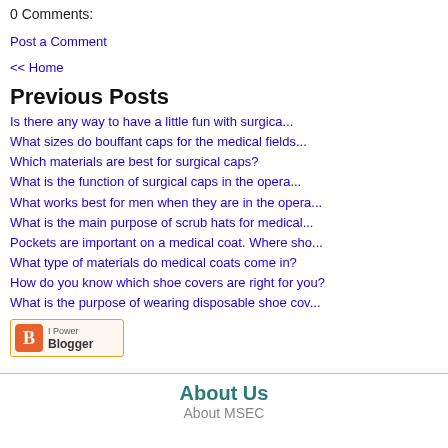0 Comments:
Post a Comment
<< Home
Previous Posts
Is there any way to have a little fun with surgica...
What sizes do bouffant caps for the medical fields...
Which materials are best for surgical caps?
What is the function of surgical caps in the opera...
What works best for men when they are in the opera...
What is the main purpose of scrub hats for medical...
Pockets are important on a medical coat. Where sho...
What type of materials do medical coats come in?
How do you know which shoe covers are right for you?
What is the purpose of wearing disposable shoe cov...
[Figure (logo): I Power Blogger badge with orange B logo]
About Us
About MSEC